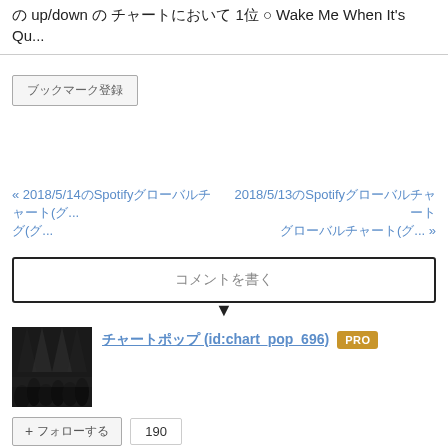の up/down の チャートにおいて 1位 ○ Wake Me When It's Qu...
ブックマーク登録
« 2018/5/14のSpotifyグローバルチャート(グ...
2018/5/13のSpotifyグローバルチャート(グ... »
コメントを書く
チャートポップ (id:chart_pop_696)  PRO
+ フォローする  190